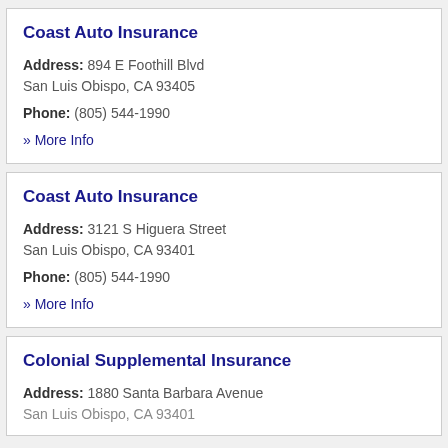Coast Auto Insurance
Address: 894 E Foothill Blvd
San Luis Obispo, CA 93405
Phone: (805) 544-1990
» More Info
Coast Auto Insurance
Address: 3121 S Higuera Street
San Luis Obispo, CA 93401
Phone: (805) 544-1990
» More Info
Colonial Supplemental Insurance
Address: 1880 Santa Barbara Avenue
San Luis Obispo, CA 93401